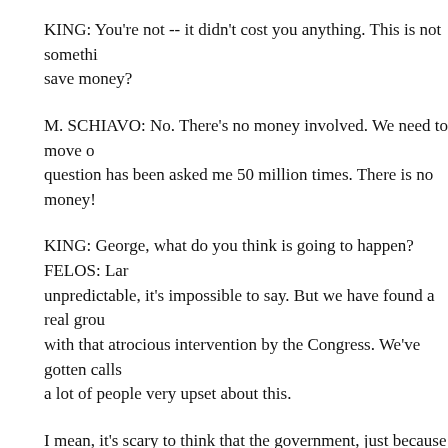KING: You're not -- it didn't cost you anything. This is not something to save money?
M. SCHIAVO: No. There's no money involved. We need to move on. This question has been asked me 50 million times. There is no money!
KING: George, what do you think is going to happen? FELOS: Larry, it's unpredictable, it's impossible to say. But we have found a real groundswell with that atrocious intervention by the Congress. We've gotten calls from a lot of people very upset about this.
I mean, it's scary to think that the government, just because they make your medical treatment choice, has a right to overturn what you want about this and they're letting their Senators and Representatives kno
M. SCHIAVO: I want everybody to know. I want to know which C